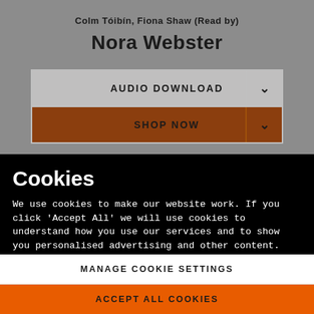Colm Tóibín, Fiona Shaw (Read by)
Nora Webster
AUDIO DOWNLOAD
SHOP NOW
Cookies
We use cookies to make our website work. If you click 'Accept All' we will use cookies to understand how you use our services and to show you personalised advertising and other content. You can change your cookie settings by clicking 'Manage Cookies'. For more information please see our cookie policy
MANAGE COOKIE SETTINGS
ACCEPT ALL COOKIES